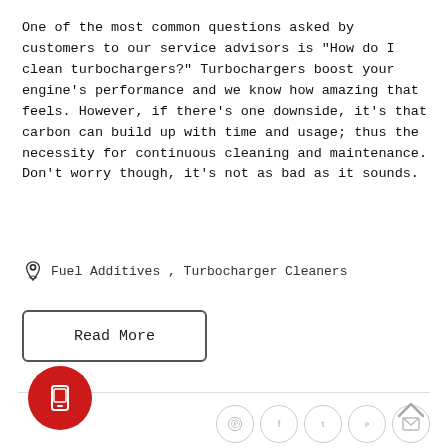One of the most common questions asked by customers to our service advisors is "How do I clean turbochargers?" Turbochargers boost your engine's performance and we know how amazing that feels. However, if there's one downside, it's that carbon can build up with time and usage; thus the necessity for continuous cleaning and maintenance. Don't worry though, it's not as bad as it sounds.
Fuel Additives , Turbocharger Cleaners
Read More
[Figure (infographic): Social sharing icons in circles: Pinterest, Facebook, Tumblr, Twitter, Email]
[Figure (infographic): Red circular mobile/tablet icon button at bottom left]
[Figure (infographic): Up arrow chevron at bottom right]